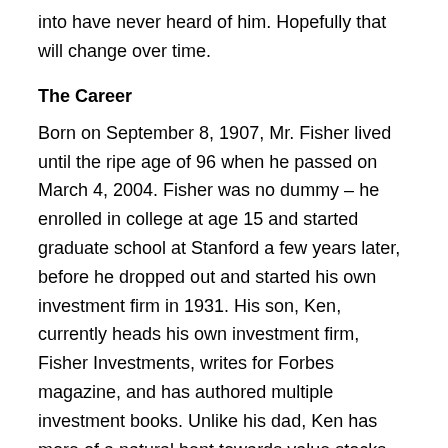into have never heard of him. Hopefully that will change over time.
The Career
Born on September 8, 1907, Mr. Fisher lived until the ripe age of 96 when he passed on March 4, 2004. Fisher was no dummy – he enrolled in college at age 15 and started graduate school at Stanford a few years later, before he dropped out and started his own investment firm in 1931. His son, Ken, currently heads his own investment firm, Fisher Investments, writes for Forbes magazine, and has authored multiple investment books. Unlike his dad, Ken has more of a natural bent towards value stocks.
Buy-And-Hold
[Figure (photo): Partial image visible at bottom of page]